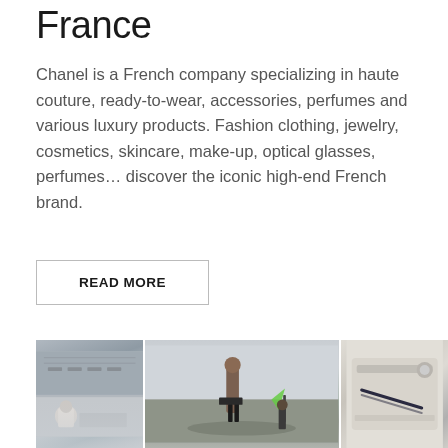France
Chanel is a French company specializing in haute couture, ready-to-wear, accessories, perfumes and various luxury products. Fashion clothing, jewelry, cosmetics, skincare, make-up, optical glasses, perfumes... discover the iconic high-end French brand.
READ MORE
[Figure (photo): Three photos: an industrial/workshop interior with people working, a person walking in an outdoor field holding a green kite with another person in background, and a close-up of a shoe with dark stripe detail.]